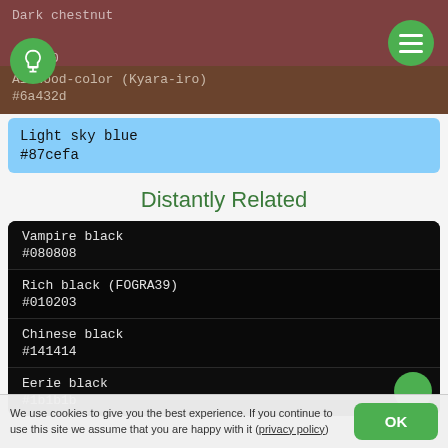Dark chestnut
#7d4040
Alewood-color (Kyara-iro)
#6a432d
Light sky blue
#87cefa
Distantly Related
Vampire black
#080808
Rich black (FOGRA39)
#010203
Chinese black
#141414
Eerie black
#1b1b1b
We use cookies to give you the best experience. If you continue to use this site we assume that you are happy with it (privacy policy)